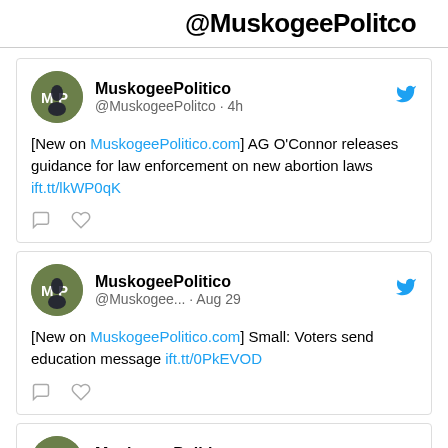@MuskogeePolitco
MuskogeePolitico @MuskogeePolitco · 4h [New on MuskogeePolitico.com] AG O'Connor releases guidance for law enforcement on new abortion laws ift.tt/lkWP0qK
MuskogeePolitico @Muskogee... · Aug 29 [New on MuskogeePolitico.com] Small: Voters send education message ift.tt/0PkEVOD
MuskogeePolitico @Muskogee... · Aug 26